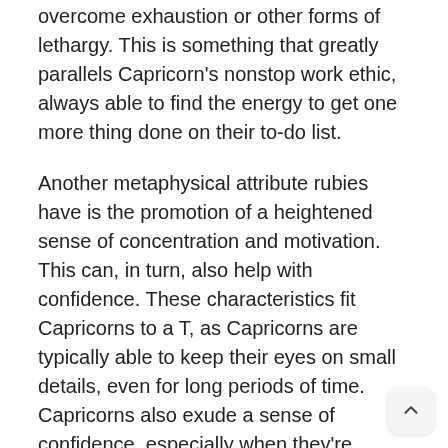overcome exhaustion or other forms of lethargy. This is something that greatly parallels Capricorn's nonstop work ethic, always able to find the energy to get one more thing done on their to-do list.
Another metaphysical attribute rubies have is the promotion of a heightened sense of concentration and motivation. This can, in turn, also help with confidence. These characteristics fit Capricorns to a T, as Capricorns are typically able to keep their eyes on small details, even for long periods of time. Capricorns also exude a sense of confidence, especially when they're asked about their field.
Finally, rubies can be very helpful when it comes to disputes (partly because of their